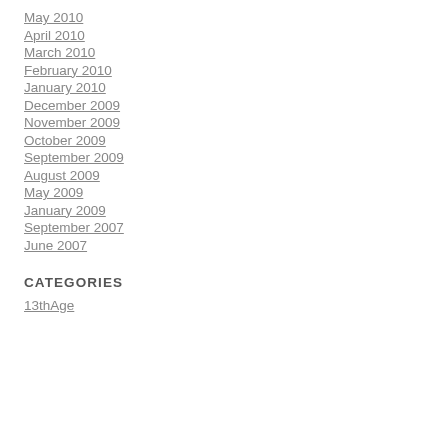May 2010
April 2010
March 2010
February 2010
January 2010
December 2009
November 2009
October 2009
September 2009
August 2009
May 2009
January 2009
September 2007
June 2007
CATEGORIES
13thAge